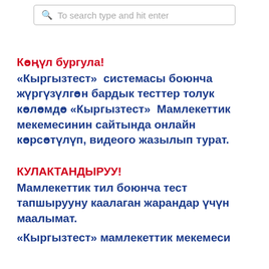[Figure (screenshot): Search bar with placeholder text 'To search type and hit enter']
Көңүл бургула!
«Кыргызтест»  системасы боюнча жүргүзүлгөн бардык тесттер толук көлөмдө «Кыргызтест»  Мамлекеттик мекемесинин сайтында онлайн көрсөтүлүп, видеого жазылып турат.
КУЛАКТАНДЫРУУ!
Мамлекеттик тил боюнча тест тапшырууну каалаган жарандар үчүн маалымат.
«Кыргызтест» мамлекеттик мекемеси